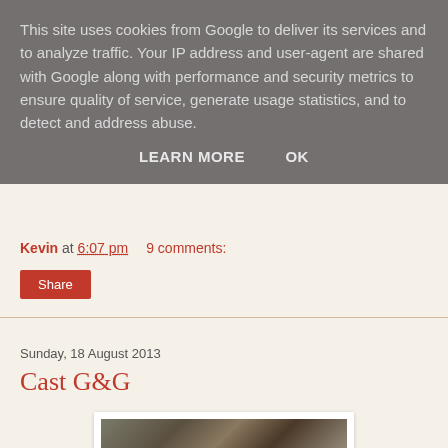This site uses cookies from Google to deliver its services and to analyze traffic. Your IP address and user-agent are shared with Google along with performance and security metrics to ensure quality of service, generate usage statistics, and to detect and address abuse.
LEARN MORE    OK
Kevin at 6:07 pm    9 comments:
Share
Sunday, 18 August 2013
Cast G&G
[Figure (photo): Close-up photograph of gold-colored decorative cast metal pieces on a gray textured background]